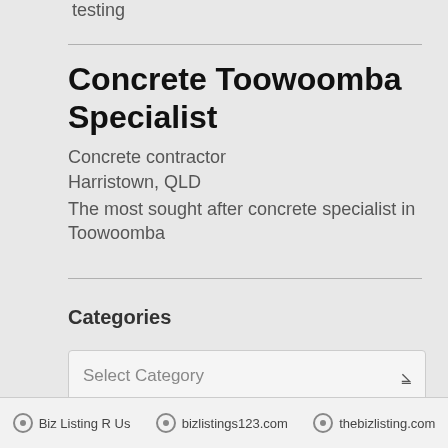testing
Concrete Toowoomba Specialist
Concrete contractor
Harristown, QLD
The most sought after concrete specialist in Toowoomba
Categories
Select Category
Biz Listing R Us   bizlistings123.com   thebizlisting.com